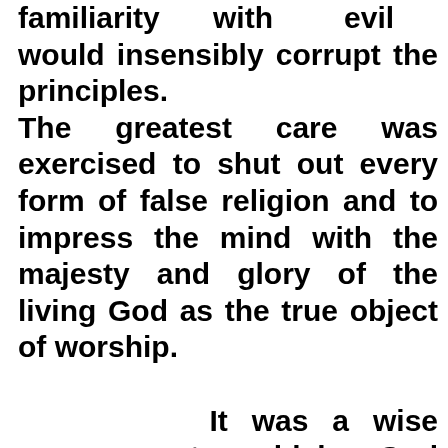familiarity with evil would insensibly corrupt the principles. The greatest care was exercised to shut out every form of false religion and to impress the mind with the majesty and glory of the living God as the true object of worship.

        It was a wise arrangement, which God Himself had made, to cut off His people, as far as